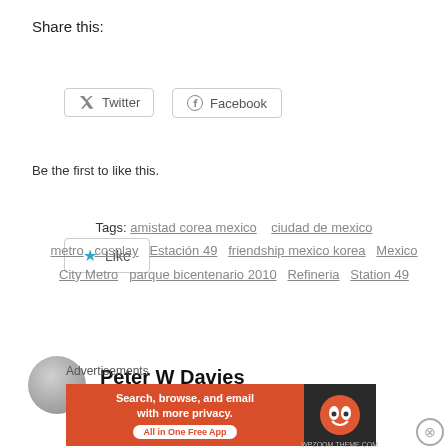Share this:
[Figure (screenshot): Twitter and Facebook share buttons]
[Figure (screenshot): Like button with star icon]
Be the first to like this.
Tags: amistad corea mexico   ciudad de mexico   metro   cosplay   Estación 49   friendship mexico korea   Mexico City Metro   parque bicentenario 2010   Refineria   Station 49
Peter W Davies
Advertisements
[Figure (screenshot): DuckDuckGo advertisement banner: Search, browse, and email with more privacy. All in One Free App]